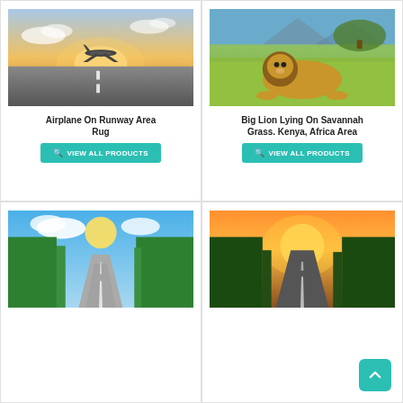[Figure (photo): Airplane taking off from runway at sunset]
Airplane On Runway Area Rug
VIEW ALL PRODUCTS
[Figure (photo): Big lion lying on savannah grass in Kenya, Africa]
Big Lion Lying On Savannah Grass. Kenya, Africa Area
VIEW ALL PRODUCTS
[Figure (photo): Road through green forest with blue sky]
[Figure (photo): Road at sunset through forest, back-to-top button overlay]